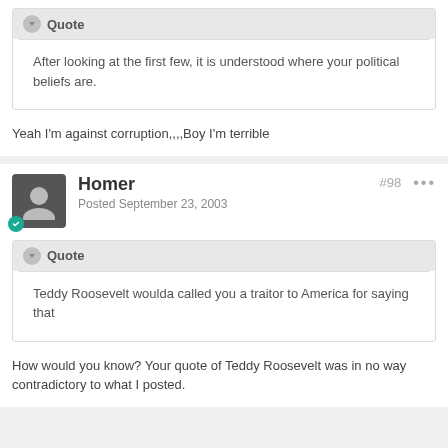Quote
After looking at the first few, it is understood where your political beliefs are.
Yeah I'm against corruption,,,,Boy I'm terrible
Homer
Posted September 23, 2003
#98
Quote
Teddy Roosevelt woulda called you a traitor to America for saying that
How would you know? Your quote of Teddy Roosevelt was in no way contradictory to what I posted.